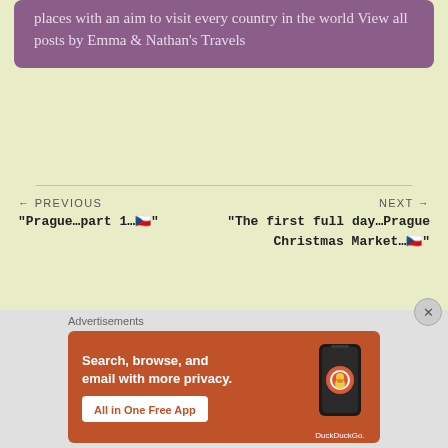places with an aim to visit every country in the world View all posts by Emma & Nathan's Travels
← PREVIOUS
"Prague...part 1...🇨🇿"
NEXT →
"The first full day...Prague Christmas Market...🇨🇿"
Advertisements
[Figure (screenshot): DuckDuckGo advertisement banner: orange background with 'Search, browse, and email with more privacy. All in One Free App' text and a phone graphic with DuckDuckGo logo and wordmark.]